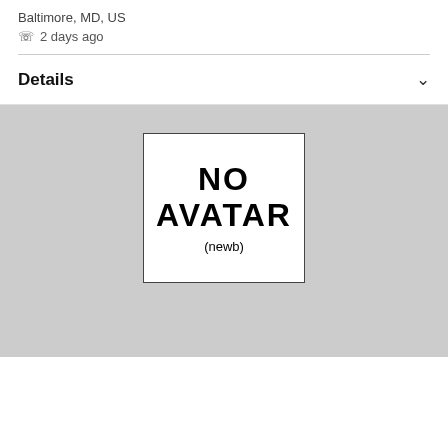Baltimore, MD, US
📱 2 days ago
Details
[Figure (illustration): A placeholder avatar image with white background and black border showing the text 'NO AVATAR (newb)']